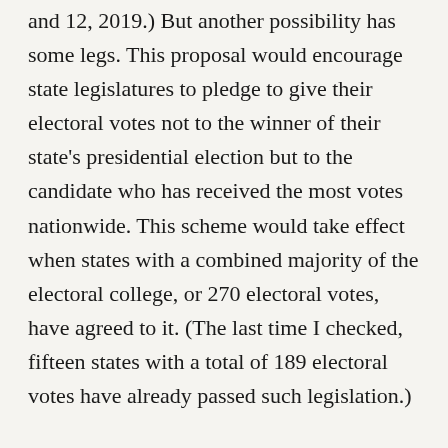and 12, 2019.) But another possibility has some legs. This proposal would encourage state legislatures to pledge to give their electoral votes not to the winner of their state's presidential election but to the candidate who has received the most votes nationwide. This scheme would take effect when states with a combined majority of the electoral college, or 270 electoral votes, have agreed to it. (The last time I checked, fifteen states with a total of 189 electoral votes have already passed such legislation.)
If this end run around the electoral college were adopted, we would have something like a national, direct election of the president, but not really. With